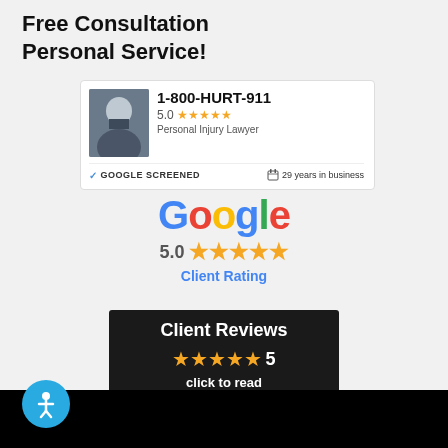Free Consultation Personal Service!
[Figure (screenshot): Google local services ad listing for 1-800-HURT-911 personal injury lawyer showing 5.0 star rating, Google Screened badge and 29 years in business]
[Figure (infographic): Google logo with 5.0 star client rating displayed below]
[Figure (infographic): Client Reviews badge showing 5 gold stars and number 5, with 'click to read' text on dark background]